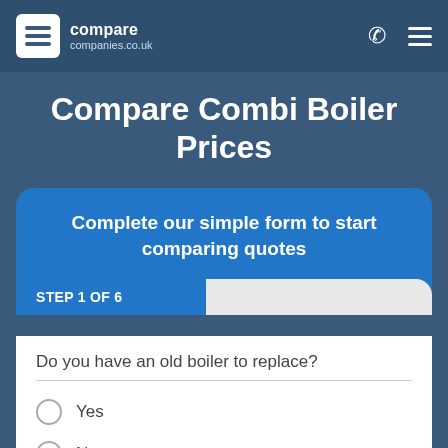compare companies.co.uk
Compare Combi Boiler Prices
Complete our simple form to start comparing quotes
STEP 1 OF 6
Do you have an old boiler to replace?
Yes
No